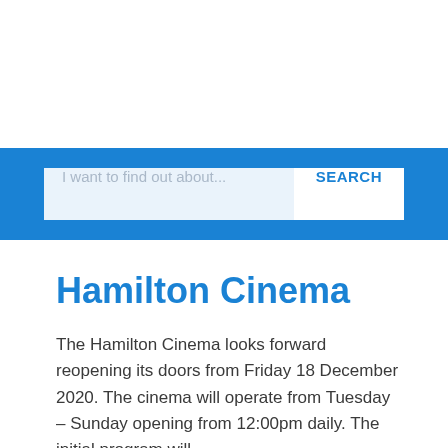[Figure (screenshot): Blue search bar with text input placeholder 'I want to find out about...' and a white SEARCH button]
Hamilton Cinema
The Hamilton Cinema looks forward reopening its doors from Friday 18 December 2020. The cinema will operate from Tuesday – Sunday opening from 12:00pm daily. The initial program will